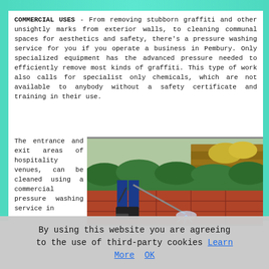COMMERCIAL USES - From removing stubborn graffiti and other unsightly marks from exterior walls, to cleaning communal spaces for aesthetics and safety, there's a pressure washing service for you if you operate a business in Pembury. Only specialized equipment has the advanced pressure needed to efficiently remove most kinds of graffiti. This type of work also calls for specialist only chemicals, which are not available to anybody without a safety certificate and training in their use.
The entrance and exit areas of hospitality venues, can be cleaned using a commercial pressure washing service in
[Figure (photo): A person in blue work clothes and rubber boots using a pressure washer on a red tiled patio, with a green hedge and stacked wood in the background.]
By using this website you are agreeing to the use of third-party cookies Learn More  OK